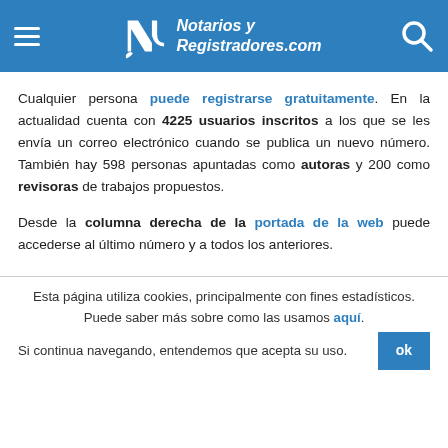Notarios y Registradores.com
Cualquier persona puede registrarse gratuitamente. En la actualidad cuenta con 4225 usuarios inscritos a los que se les envía un correo electrónico cuando se publica un nuevo número. También hay 598 personas apuntadas como autoras y 200 como revisoras de trabajos propuestos.
Desde la columna derecha de la portada de la web puede accederse al último número y a todos los anteriores.
Esta página utiliza cookies, principalmente con fines estadísticos. Puede saber más sobre como las usamos aquí. Si continua navegando, entendemos que acepta su uso.